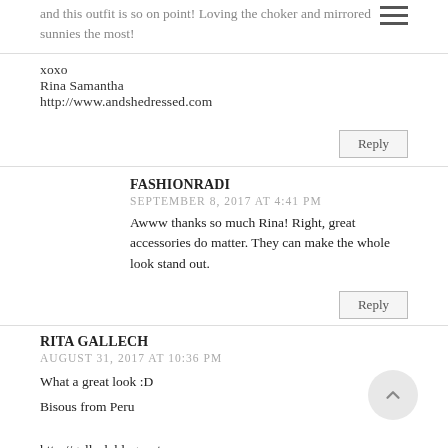and this outfit is so on point! Loving the choker and mirrored sunnies the most!
xoxo
Rina Samantha
http://www.andshedressed.com
Reply
FASHIONRADI
SEPTEMBER 8, 2017 AT 4:41 PM
Awww thanks so much Rina! Right, great accessories do matter. They can make the whole look stand out.
Reply
RITA GALLECH
AUGUST 31, 2017 AT 10:36 PM
What a great look :D
Bisous from Peru

http://gallech.blogspot.com